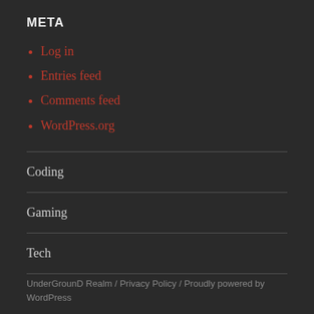META
Log in
Entries feed
Comments feed
WordPress.org
Coding
Gaming
Tech
UnderGrounD Realm / Privacy Policy / Proudly powered by WordPress